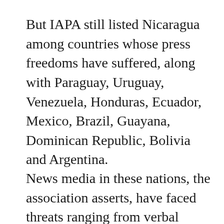But IAPA still listed Nicaragua among countries whose press freedoms have suffered, along with Paraguay, Uruguay, Venezuela, Honduras, Ecuador, Mexico, Brazil, Guayana, Dominican Republic, Bolivia and Argentina.
News media in these nations, the association asserts, have faced threats ranging from verbal attacks, censorship and impunity in crimes against journalists to government discrimination against newspapers'